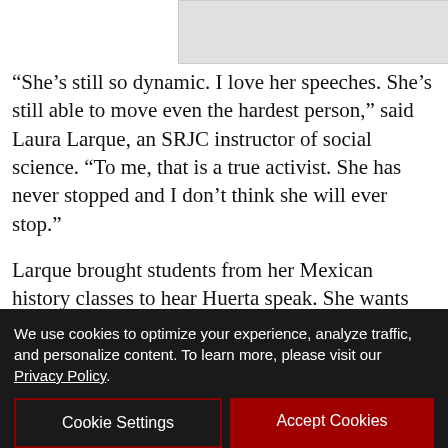[Figure (photo): Partial image placeholder at top of page]
“She’s still so dynamic. I love her speeches. She’s still able to move even the hardest person,” said Laura Larque, an SRJC instructor of social science. “To me, that is a true activist. She has never stopped and I don’t think she will ever stop.”
Larque brought students from her Mexican history classes to hear Huerta speak. She wants her students to understand their right to an education at the junior college.
“Teach— (partial, cut off by cookie banner)
We use cookies to optimize your experience, analyze traffic, and personalize content. To learn more, please visit our Privacy Policy.
Cookie Settings
Accept Cookies